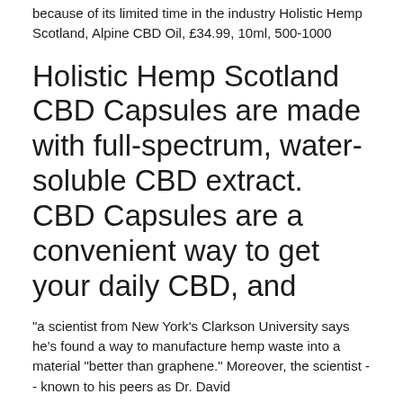because of its limited time in the industry Holistic Hemp Scotland, Alpine CBD Oil, £34.99, 10ml, 500-1000
Holistic Hemp Scotland CBD Capsules are made with full-spectrum, water-soluble CBD extract. CBD Capsules are a convenient way to get your daily CBD, and
"a scientist from New York's Clarkson University says he's found a way to manufacture hemp waste into a material "better than graphene." Moreover, the scientist -- known to his peers as Dr. David
Holistic Hemp Scotland sources its hemp from organically-grown EU hemp.